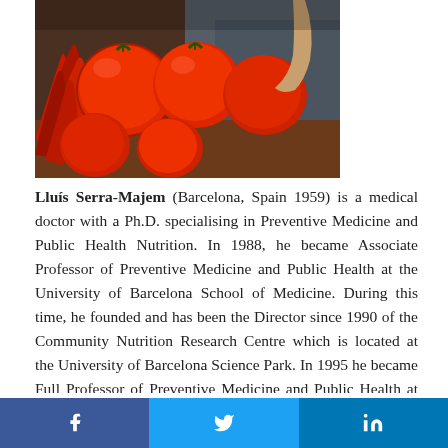[Figure (photo): Photo of Lluís Serra-Majem holding or near tomatoes and red peppers at a market or food display]
Lluís Serra-Majem (Barcelona, Spain 1959) is a medical doctor with a Ph.D. specialising in Preventive Medicine and Public Health Nutrition. In 1988, he became Associate Professor of Preventive Medicine and Public Health at the University of Barcelona School of Medicine. During this time, he founded and has been the Director since 1990 of the Community Nutrition Research Centre which is located at the University of Barcelona Science Park. In 1995 he became Full Professor of Preventive Medicine and Public Health at the University of Las Palmas de Gran Canaria, where he also holds the UNESCO Chair for Research, Planning and Development of Local Health and Food Systems, and is the Director of the Nutrition Research Group as well as Director of the Research Institute in Biomedical and Health Sciences
[Figure (infographic): Social media sharing bar with Facebook, Twitter, and LinkedIn buttons]